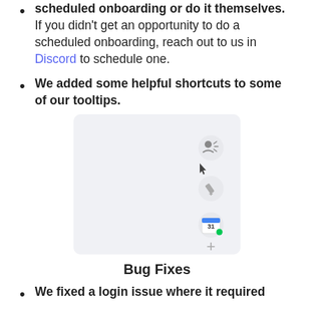scheduled onboarding or do it themselves. If you didn't get an opportunity to do a scheduled onboarding, reach out to us in Discord to schedule one.
We added some helpful shortcuts to some of our tooltips.
[Figure (screenshot): A UI screenshot showing a vertical toolbar with icons: a person/speaker icon, a cursor, a pencil/edit icon, a Google Calendar icon with a green dot, and a plus button.]
Bug Fixes
We fixed a login issue where it required